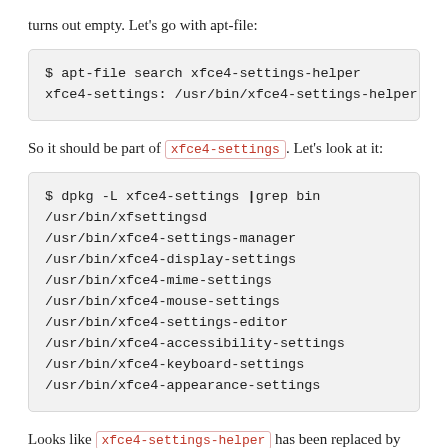turns out empty. Let's go with apt-file:
$ apt-file search xfce4-settings-helper
xfce4-settings: /usr/bin/xfce4-settings-helper
So it should be part of xfce4-settings. Let's look at it:
$ dpkg -L xfce4-settings |grep bin
/usr/bin/xfsettingsd
/usr/bin/xfce4-settings-manager
/usr/bin/xfce4-display-settings
/usr/bin/xfce4-mime-settings
/usr/bin/xfce4-mouse-settings
/usr/bin/xfce4-settings-editor
/usr/bin/xfce4-accessibility-settings
/usr/bin/xfce4-keyboard-settings
/usr/bin/xfce4-appearance-settings
Looks like xfce4-settings-helper has been replaced by something else recently? My apt-file index is probably a few months old at this point. xfsettingsd seems useful, by the name of it. But turns out it's already running: